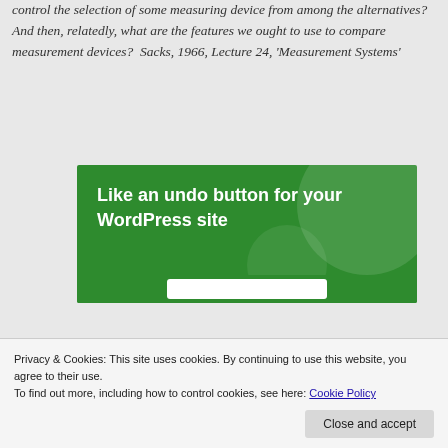control the selection of some measuring device from among the alternatives? And then, relatedly, what are the features we ought to use to compare measurement devices?  Sacks, 1966, Lecture 24, 'Measurement Systems'
[Figure (illustration): Green advertisement banner with bold white text reading 'Like an undo button for your WordPress site' with decorative circles and a white button at bottom]
Privacy & Cookies: This site uses cookies. By continuing to use this website, you agree to their use.
To find out more, including how to control cookies, see here: Cookie Policy
Close and accept